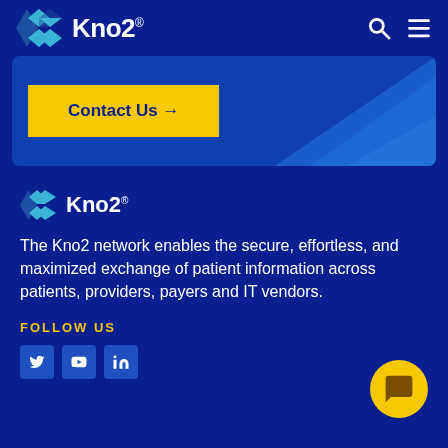Kno2
[Figure (logo): Kno2 logo with diamond/arrow icon and text in navigation header]
[Figure (illustration): Yellow Contact Us button on dark blue banner with light blue geometric diamond shape on right side]
[Figure (logo): Kno2 logo in footer section]
The Kno2 network enables the secure, effortless, and maximized exchange of patient information across patients, providers, payers and IT vendors.
FOLLOW US
[Figure (other): Social media icons: Twitter, YouTube, LinkedIn]